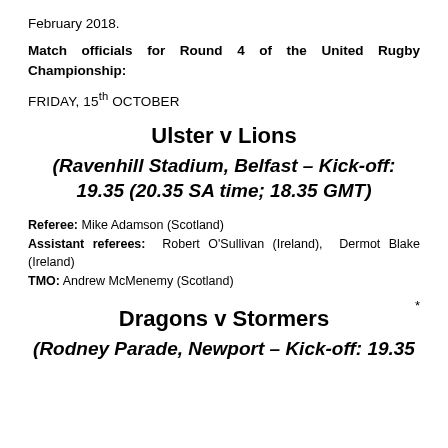February 2018.
Match officials for Round 4 of the United Rugby Championship:
FRIDAY, 15th OCTOBER
Ulster v Lions
(Ravenhill Stadium, Belfast – Kick-off: 19.35 (20.35 SA time; 18.35 GMT)
Referee: Mike Adamson (Scotland)
Assistant referees: Robert O'Sullivan (Ireland), Dermot Blake (Ireland)
TMO: Andrew McMenemy (Scotland)
Dragons v Stormers
(Rodney Parade, Newport – Kick-off: 19.35